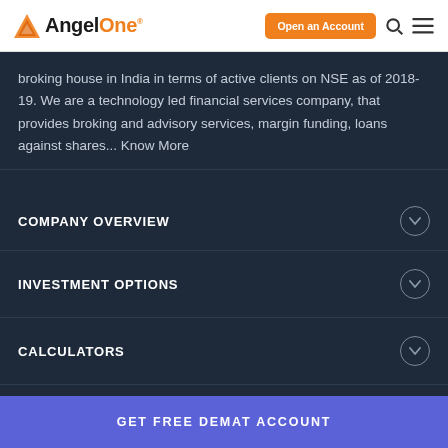[Figure (logo): AngelOne logo with orange triangle icon and wordmark in dark and orange colors]
Open an Account
broking house in India in terms of active clients on NSE as of 2018-19. We are a technology led financial services company, that provides broking and advisory services, margin funding, loans against shares... Know More
COMPANY OVERVIEW
INVESTMENT OPTIONS
CALCULATORS
KNOWLEDGE CENTER
GET FREE DEMAT ACCOUNT